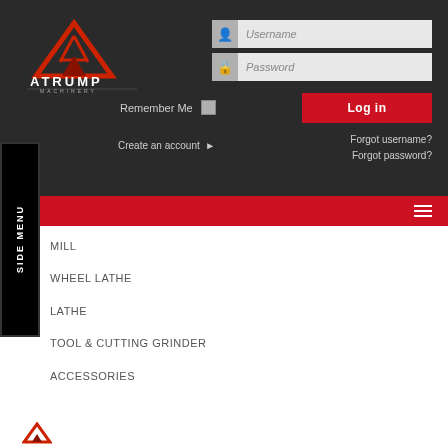[Figure (logo): Atrump Machinery logo with red triangle A icon and text ATRUMP MACHINERY]
Username
Password
Remember Me
Log in
Create an account ▶
Forgot username?
Forgot password?
SIDE MENU
MILL
WHEEL LATHE
LATHE
TOOL & CUTTING GRINDER
ACCESSORIES